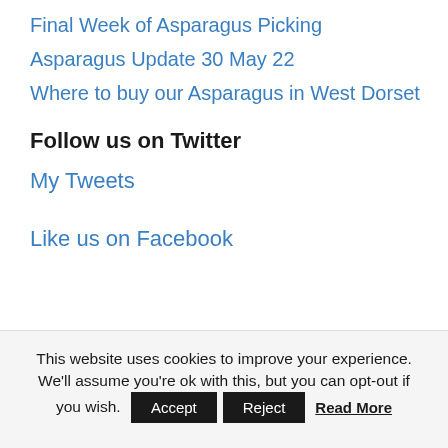Final Week of Asparagus Picking
Asparagus Update 30 May 22
Where to buy our Asparagus in West Dorset
Follow us on Twitter
My Tweets
Like us on Facebook
This website uses cookies to improve your experience. We'll assume you're ok with this, but you can opt-out if you wish. Accept Reject Read More